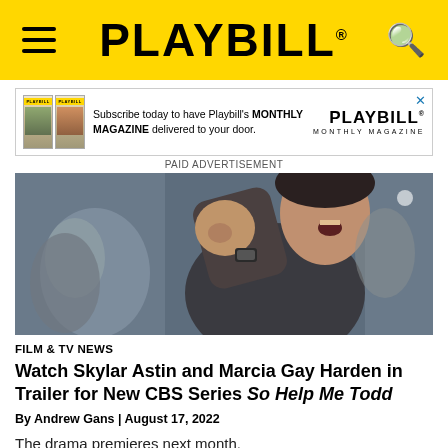PLAYBILL
[Figure (screenshot): Advertisement banner for Playbill Monthly Magazine subscription with thumbnail images and logo]
PAID ADVERTISEMENT
[Figure (photo): A man in a dark jacket raising his fist, with people in the background — scene from the CBS series So Help Me Todd]
FILM & TV NEWS
Watch Skylar Astin and Marcia Gay Harden in Trailer for New CBS Series So Help Me Todd
By Andrew Gans | August 17, 2022
The drama premieres next month.
[Figure (photo): Partial photo at bottom of page showing two people]